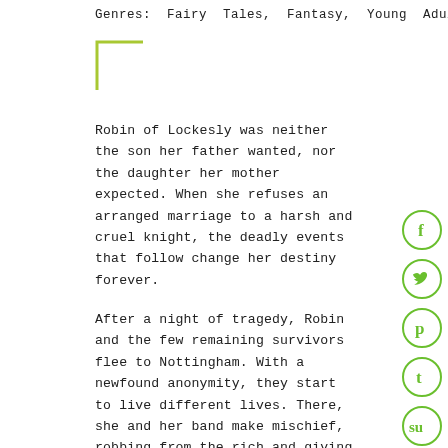Genres: Fairy Tales, Fantasy, Young Adult
[Figure (illustration): Green corner bracket decorative element (top-left corner lines in yellow-green color)]
Robin of Lockesly was neither the son her father wanted, nor the daughter her mother expected. When she refuses an arranged marriage to a harsh and cruel knight, the deadly events that follow change her destiny forever.
After a night of tragedy, Robin and the few remaining survivors flee to Nottingham. With a newfound anonymity, they start to live different lives. There, she and her band make mischief, robbing from the rich and giving to the poor. But charity isn't the only thing she wants–she wants revenge.
As the sheriff draws his net closer, Robin's choices begin to haunt her. She'll have to choose between what's lawful and what her conscience believes is right–all while staying
[Figure (infographic): Vertical social media sharing buttons: Facebook (f), Twitter (bird), Pinterest (p), Tumblr (t), StumbleUpon (su) — all green circles with white icons]